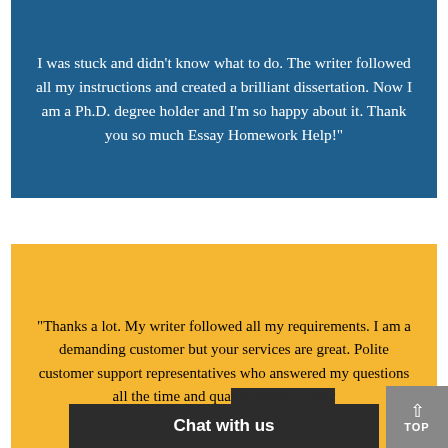I was stuck and didn't know what to do. The writer followed all my instructions and created a brilliant dissertation. Now I am a Ph.D. degree holder and I'm so happy about it. Thank you so much Essay Homework Help!"
Economics Homework Review
"Thanks a lot. My writer followed all my requirements. I am a demanding customer but your services are great. Polite customer support representatives who answered my questions all the time and qua... Essay Homework Help